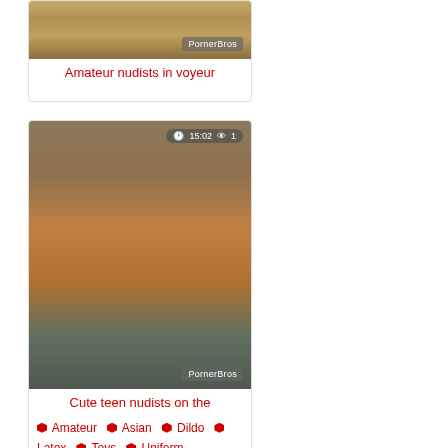[Figure (photo): Video thumbnail card 1: beach/sandy background with watermark PornerBros]
Amateur nudists in voyeur
[Figure (photo): Video thumbnail card 2: teen nudist on beach, duration 15:02, 1 view, watermark PornerBros]
Cute teen nudists on the
Amateur  Asian  Dildo  Latex  Toys  Uniform
[Figure (photo): Video thumbnail card 3: indoor scene, duration 15:15, 3 views, watermark PornerBros]